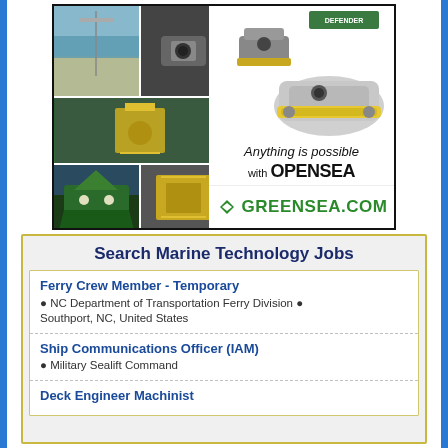[Figure (illustration): OPENSEA advertisement by Greensea Systems showing marine autonomous vehicles, underwater robots, and vessel photos in a grid collage. Text reads 'Anything is possible with OPENSEA' and the Greensea.com logo with green diamond logo mark.]
Search Marine Technology Jobs
Ferry Crew Member - Temporary
• NC Department of Transportation Ferry Division • Southport, NC, United States
Ship Communications Officer (IAM)
• Military Sealift Command
Deck Engineer Machinist